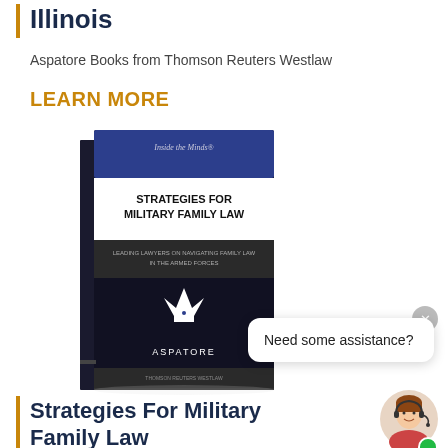Illinois
Aspatore Books from Thomson Reuters Westlaw
LEARN MORE
[Figure (photo): Book cover for 'Strategies for Military Family Law' by Aspatore, a legal reference book with dark navy/black cover and white crown logo, published by Thomson Reuters Aspatore imprint.]
Need some assistance?
Strategies For Military Family Law
[Figure (photo): Avatar of a woman wearing a headset, customer support representative, with a green online indicator dot.]